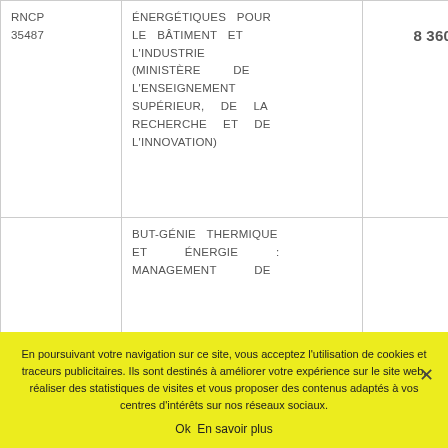| RNCP | Intitulé | Prix |
| --- | --- | --- |
| RNCP 35487 | ÉNERGÉTIQUES POUR LE BÂTIMENT ET L'INDUSTRIE (MINISTÈRE DE L'ENSEIGNEMENT SUPÉRIEUR, DE LA RECHERCHE ET DE L'INNOVATION) | 8 360€ |
|  | BUT-GÉNIE THERMIQUE ET ÉNERGIE : MANAGEMENT DE |  |
En poursuivant votre navigation sur ce site, vous acceptez l'utilisation de cookies et traceurs publicitaires. Ils sont destinés à améliorer votre expérience sur le site web, réaliser des statistiques de visites et vous proposer des contenus adaptés à vos centres d'intérêts sur nos réseaux sociaux.
Ok   En savoir plus